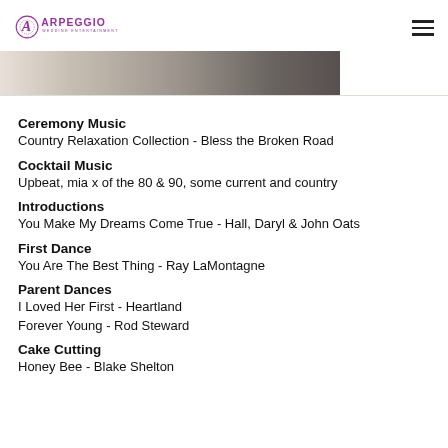Arpeggio Wedding Entertainment
[Figure (photo): Partial photo of people at a wedding, showing clothing details]
Ceremony Music
Country Relaxation Collection - Bless the Broken Road
Cocktail Music
Upbeat, mia x of the 80 & 90, some current and country
Introductions
You Make My Dreams Come True - Hall, Daryl & John Oats
First Dance
You Are The Best Thing - Ray LaMontagne
Parent Dances
I Loved Her First - Heartland
Forever Young - Rod Steward
Cake Cutting
Honey Bee - Blake Shelton